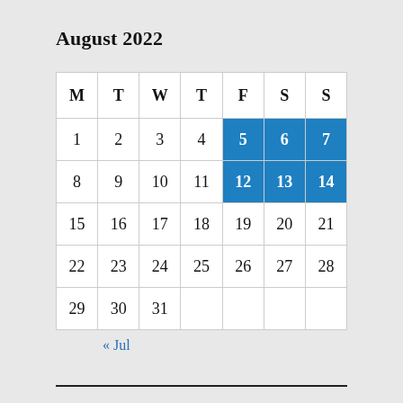August 2022
| M | T | W | T | F | S | S |
| --- | --- | --- | --- | --- | --- | --- |
| 1 | 2 | 3 | 4 | 5 | 6 | 7 |
| 8 | 9 | 10 | 11 | 12 | 13 | 14 |
| 15 | 16 | 17 | 18 | 19 | 20 | 21 |
| 22 | 23 | 24 | 25 | 26 | 27 | 28 |
| 29 | 30 | 31 |  |  |  |  |
« Jul